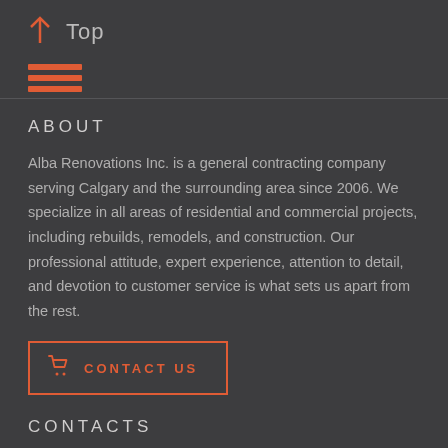↑ Top
[Figure (other): Hamburger menu icon with three orange horizontal bars]
ABOUT
Alba Renovations Inc. is a general contracting company serving Calgary and the surrounding area since 2006. We specialize in all areas of residential and commercial projects, including rebuilds, remodels, and construction. Our professional attitude, expert experience, attention to detail, and devotion to customer service is what sets us apart from the rest.
CONTACT US
CONTACTS
Calgary, Alberta and area.
Tel: 1 (403) 918 – 3419